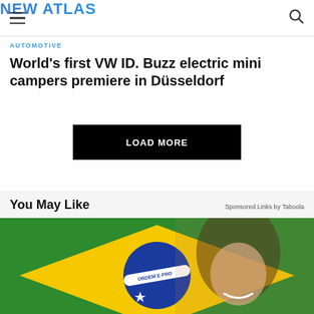NEW ATLAS
AUTOMOTIVE
World's first VW ID. Buzz electric mini campers premiere in Düsseldorf
LOAD MORE
You May Like
Sponsored Links by Taboola
[Figure (photo): Woman smiling in front of Brazilian flag]